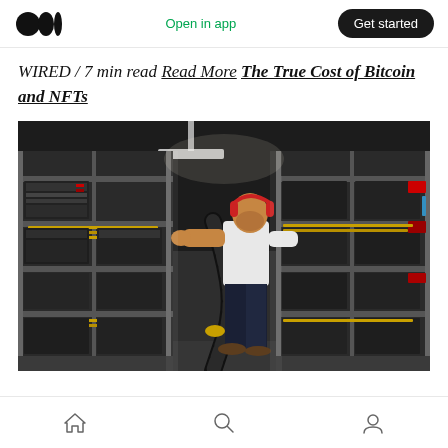Medium — Open in app | Get started
WIRED / 7 min read Read More The True Cost of Bitcoin and NFTs
[Figure (photo): A man wearing red headphones and a white t-shirt stands in a Bitcoin mining facility, surrounded by rows of mining rigs on metal shelving racks with cables and hardware equipment.]
Home | Search | Profile